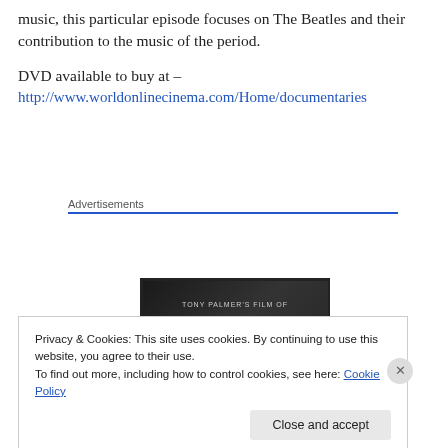music, this particular episode focuses on The Beatles and their contribution to the music of the period.
DVD available to buy at –
http://www.worldonlinecinema.com/Home/documentaries
Advertisements
[Figure (photo): DVD box set product image showing 'Tony Palmer's Film Of' title on dark background]
Privacy & Cookies: This site uses cookies. By continuing to use this website, you agree to their use.
To find out more, including how to control cookies, see here: Cookie Policy
Close and accept